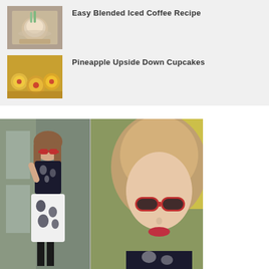[Figure (photo): Thumbnail of blended iced coffee drink in a glass with straw on wooden surface]
Easy Blended Iced Coffee Recipe
[Figure (photo): Thumbnail of pineapple upside down cupcakes on wooden surface]
Pineapple Upside Down Cupcakes
[Figure (photo): Two-panel fashion photo of a young woman with red sunglasses wearing a black and white floral dress, posing outdoors]